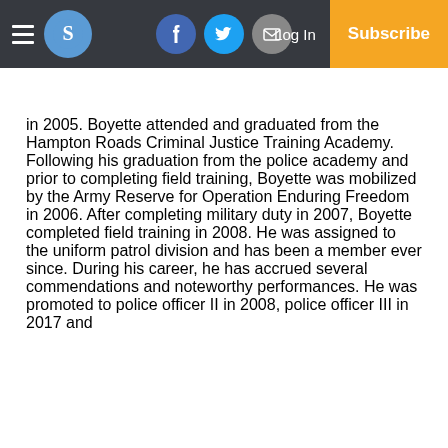Navigation bar with hamburger menu, S logo, Facebook, Twitter, Email icons, Log In, Subscribe
in 2005. Boyette attended and graduated from the Hampton Roads Criminal Justice Training Academy. Following his graduation from the police academy and prior to completing field training, Boyette was mobilized by the Army Reserve for Operation Enduring Freedom in 2006. After completing military duty in 2007, Boyette completed field training in 2008. He was assigned to the uniform patrol division and has been a member ever since. During his career, he has accrued several commendations and noteworthy performances. He was promoted to police officer II in 2008, police officer III in 2017 and